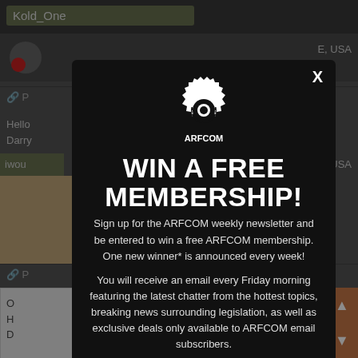Kold_One
[Figure (screenshot): Background website UI showing forum page with gray panels, user avatar, navigation links, and content snippets partially visible behind modal overlay]
[Figure (infographic): ARFCOM modal popup with gear logo, headline WIN A FREE MEMBERSHIP!, subscription call-to-action text, and email input field at bottom]
WIN A FREE MEMBERSHIP!
Sign up for the ARFCOM weekly newsletter and be entered to win a free ARFCOM membership. One new winner* is announced every week!
You will receive an email every Friday morning featuring the latest chatter from the hottest topics, breaking news surrounding legislation, as well as exclusive deals only available to ARFCOM email subscribers.